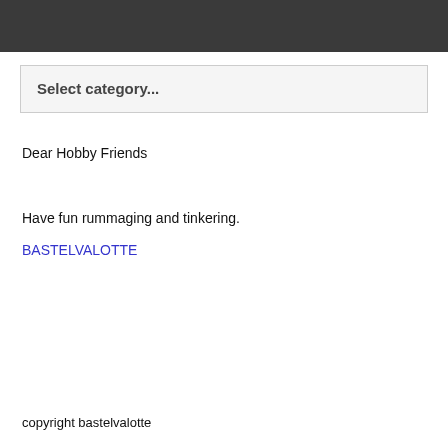Select category...
Dear Hobby Friends
Have fun rummaging and tinkering.
BASTELVALOTTE
copyright bastelvalotte